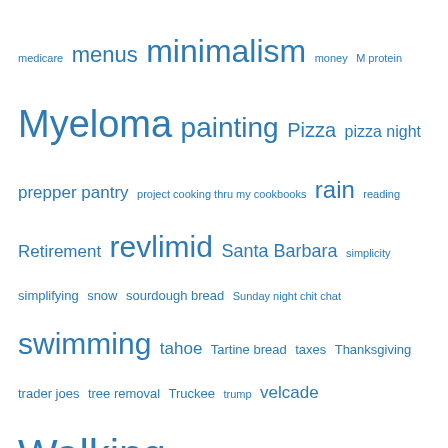[Figure (infographic): Tag cloud with blog tags in various sizes, all in blue: medicare, menus, minimalism, money, M protein, Myeloma, painting, Pizza, pizza night, prepper pantry, project cooking thru my cookbooks, rain, reading, Retirement, revlimid, Santa Barbara, simplicity, simplifying, snow, sourdough bread, Sunday night chit chat, swimming, tahoe, Tartine bread, taxes, Thanksgiving, trader joes, tree removal, Truckee, trump, velcade, Walking, winco, wind, YNAB, zometa]
Blog Stats
238,918 hits
Subscribe to Blog via Email
Enter your email address to subscribe to this blog and receive notifications of new posts by email.